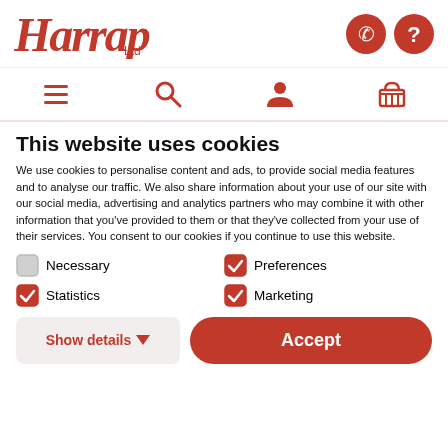Harrap Ltd — website header with logo, phone icon, and help icon
Navigation bar with menu, search, user, and basket icons
This website uses cookies
We use cookies to personalise content and ads, to provide social media features and to analyse our traffic. We also share information about your use of our site with our social media, advertising and analytics partners who may combine it with other information that you've provided to them or that they've collected from your use of their services. You consent to our cookies if you continue to use this website.
Necessary (unchecked)
Preferences (checked)
Statistics (checked)
Marketing (checked)
Show details ▼
Accept